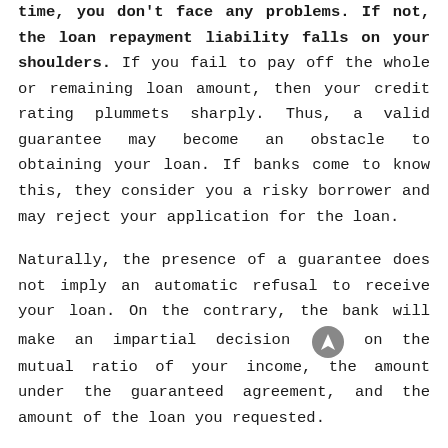time, you don't face any problems. If not, the loan repayment liability falls on your shoulders. If you fail to pay off the whole or remaining loan amount, then your credit rating plummets sharply. Thus, a valid guarantee may become an obstacle to obtaining your loan. If banks come to know this, they consider you a risky borrower and may reject your application for the loan.
Naturally, the presence of a guarantee does not imply an automatic refusal to receive your loan. On the contrary, the bank will make an impartial decision on the mutual ratio of your income, the amount under the guaranteed agreement, and the amount of the loan you requested.
A high-limit credit card